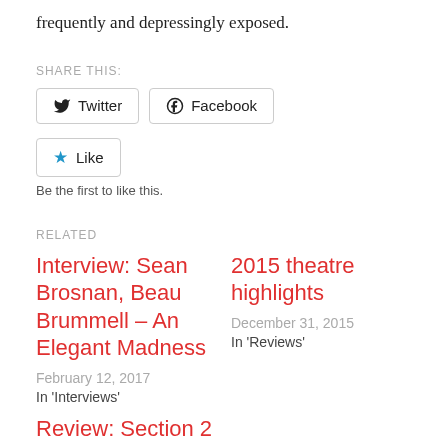frequently and depressingly exposed.
SHARE THIS:
Twitter  Facebook
Like
Be the first to like this.
RELATED
Interview: Sean Brosnan, Beau Brummell – An Elegant Madness
February 12, 2017
In 'Interviews'
2015 theatre highlights
December 31, 2015
In 'Reviews'
Review: Section 2